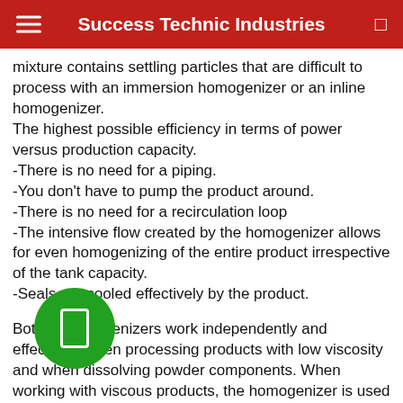Success Technic Industries
mixture contains settling particles that are difficult to process with an immersion homogenizer or an inline homogenizer.
The highest possible efficiency in terms of power versus production capacity.
-There is no need for a piping.
-You don't have to pump the product around.
-There is no need for a recirculation loop
-The intensive flow created by the homogenizer allows for even homogenizing of the entire product irrespective of the tank capacity.
-Seals are cooled effectively by the product.
Bottom homogenizers work independently and effectively when processing products with low viscosity and when dissolving powder components. When working with viscous products, the homogenizer is used with a low-speed agitator or scrapers.